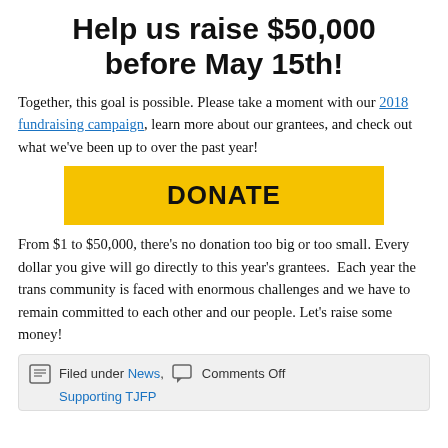Help us raise $50,000 before May 15th!
Together, this goal is possible. Please take a moment with our 2018 fundraising campaign, learn more about our grantees, and check out what we’ve been up to over the past year!
[Figure (other): Yellow DONATE button]
From $1 to $50,000, there’s no donation too big or too small. Every dollar you give will go directly to this year’s grantees.  Each year the trans community is faced with enormous challenges and we have to remain committed to each other and our people. Let’s raise some money!
Filed under News, Supporting TJFP   Comments Off